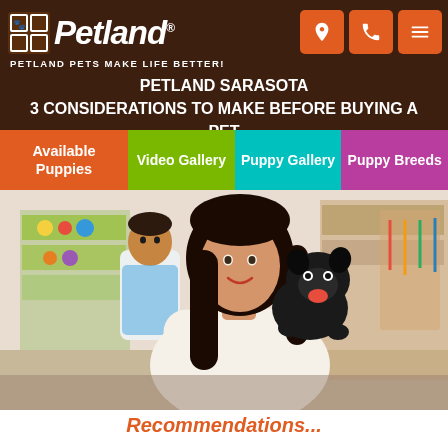Petland — PETLAND PETS MAKE LIFE BETTER!
PETLAND SARASOTA
3 CONSIDERATIONS TO MAKE BEFORE BUYING A PET
Available Puppies
Video Gallery
Puppy Gallery
Puppy Breeds
[Figure (photo): A smiling young woman with long dark hair holding a small black French Bulldog puppy in a pet store, with a male store employee visible in the background among pet store shelves and products.]
Recommendations...